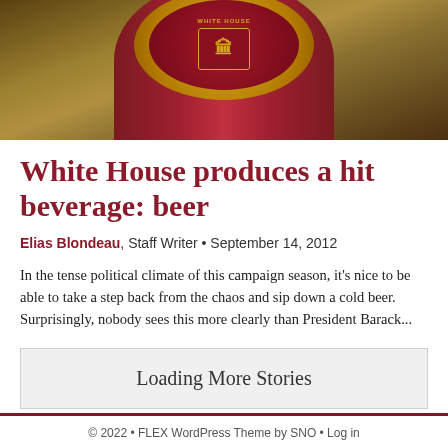[Figure (photo): Close-up photo of a White House branded beer bottle top/label with maroon and gold coloring]
White House produces a hit beverage: beer
Elias Blondeau, Staff Writer • September 14, 2012
In the tense political climate of this campaign season, it's nice to be able to take a step back from the chaos and sip down a cold beer. Surprisingly, nobody sees this more clearly than President Barack...
Loading More Stories
© 2022 • FLEX WordPress Theme by SNO • Log in